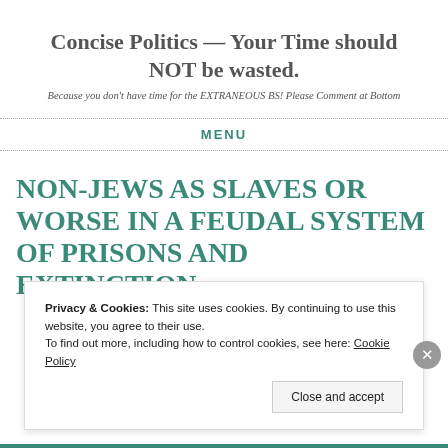Concise Politics — Your Time should NOT be wasted.
Because you don't have time for the EXTRANEOUS BS! Please Comment at Bottom
MENU
NON-JEWS AS SLAVES OR WORSE IN A FEUDAL SYSTEM OF PRISONS AND EXTINCTION
Privacy & Cookies: This site uses cookies. By continuing to use this website, you agree to their use.
To find out more, including how to control cookies, see here: Cookie Policy
Close and accept